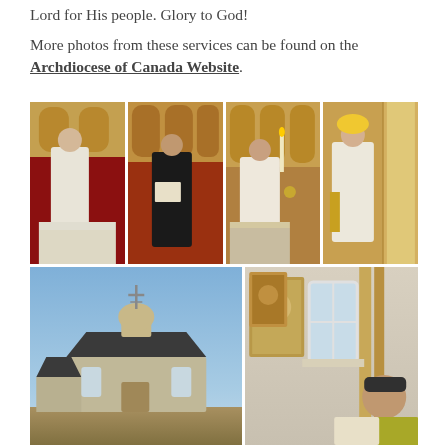Lord for His people. Glory to God!
More photos from these services can be found on the Archdiocese of Canada Website.
[Figure (photo): Four photos of Orthodox Christian clergy performing liturgical services inside a church with iconostasis, red carpet, and white vestments.]
[Figure (photo): Two photos: left shows exterior of a small Orthodox church building at dusk with a cross on the dome; right shows a person reading from a document/scroll near icons and a window.]